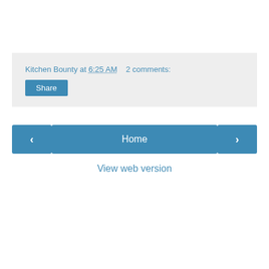Kitchen Bounty at 6:25 AM   2 comments:
Share
‹
Home
›
View web version